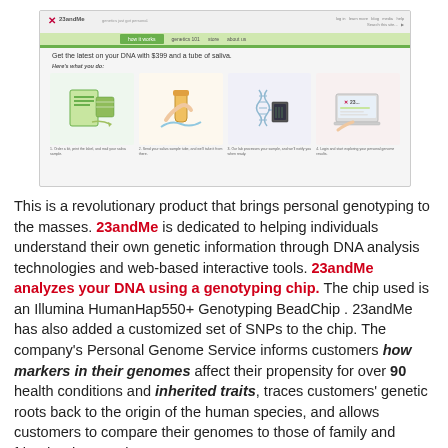[Figure (screenshot): Screenshot of the 23andMe website showing the navigation bar with green highlight, logo, tagline 'Get the latest on your DNA with $399 and a tube of saliva', and four illustrated steps showing how the service works.]
This is a revolutionary product that brings personal genotyping to the masses. 23andMe is dedicated to helping individuals understand their own genetic information through DNA analysis technologies and web-based interactive tools. 23andMe analyzes your DNA using a genotyping chip. The chip used is an Illumina HumanHap550+ Genotyping BeadChip . 23andMe has also added a customized set of SNPs to the chip. The company's Personal Genome Service informs customers how markers in their genomes affect their propensity for over 90 health conditions and inherited traits, traces customers' genetic roots back to the origin of the human species, and allows customers to compare their genomes to those of family and friends who are also